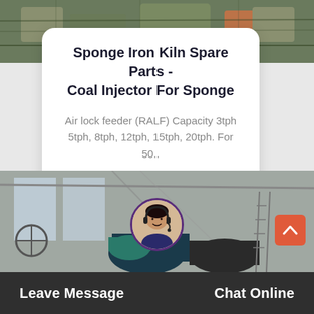[Figure (photo): Industrial factory/workshop scene with heavy machinery, top strip]
Sponge Iron Kiln Spare Parts - Coal Injector For Sponge
Air lock feeder (RALF) Capacity 3tph 5tph, 8tph, 12tph, 15tph, 20tph. For 50..
Read More >
[Figure (photo): Industrial factory/warehouse interior with large machinery and equipment]
Leave Message
Chat Online